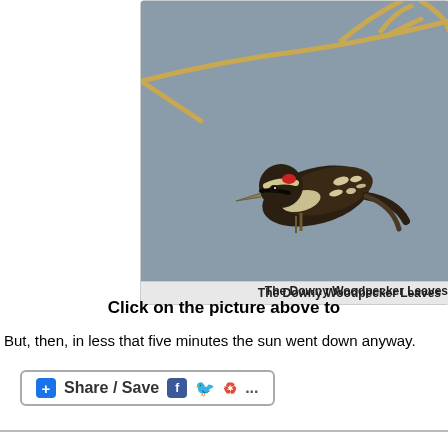[Figure (photo): A Downy Woodpecker perched on a bare branch against a gray-blue sky background. The bird has black and white plumage with a red patch on its head.]
The Downy Woodpecker Leaves
Click on the picture above to
But, then, in less that five minutes the sun went down anyway.
[Figure (screenshot): Share / Save social sharing button bar with Facebook, Twitter, and Google+ icons and ellipsis]